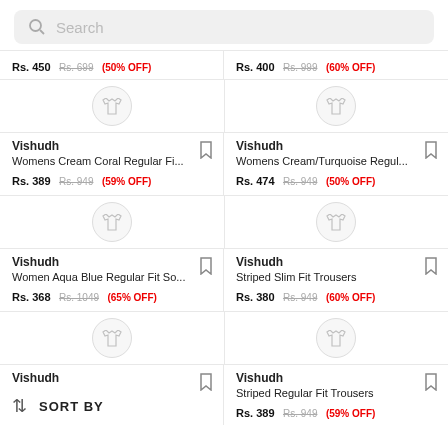[Figure (screenshot): Search bar with magnifying glass icon and placeholder text 'Search']
Rs. 450  Rs. 699  (50% OFF)
Rs. 400  Rs. 999  (60% OFF)
[Figure (illustration): Shirt/clothing icon in circular placeholder - left column]
[Figure (illustration): Shirt/clothing icon in circular placeholder - right column]
Vishudh
Womens Cream Coral Regular Fi...
Rs. 389  Rs. 949  (59% OFF)
Vishudh
Womens Cream/Turquoise Regul...
Rs. 474  Rs. 949  (50% OFF)
[Figure (illustration): Shirt/clothing icon in circular placeholder - left column row 2]
[Figure (illustration): Shirt/clothing icon in circular placeholder - right column row 2]
Vishudh
Women Aqua Blue Regular Fit So...
Rs. 368  Rs. 1049  (65% OFF)
Vishudh
Striped Slim Fit Trousers
Rs. 380  Rs. 949  (60% OFF)
[Figure (illustration): Shirt/clothing icon in circular placeholder - left column row 3]
[Figure (illustration): Shirt/clothing icon in circular placeholder - right column row 3]
Vishudh
Vishudh
Striped Regular Fit Trousers
Rs. 389  Rs. 949  (59% OFF)
SORT BY